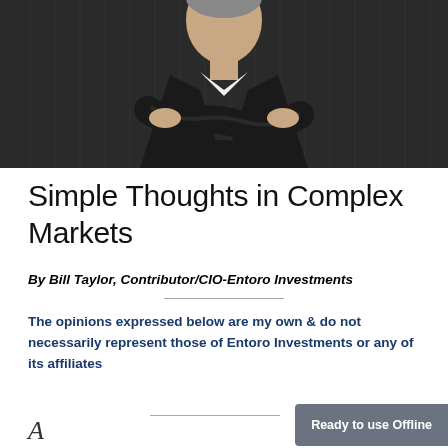[Figure (photo): Portrait photo of a man in a dark suit with arms crossed, standing against a dark background with vertical lines/curtains]
Simple Thoughts in Complex Markets
By Bill Taylor, Contributor/CIO-Entoro Investments
The opinions expressed below are my own & do not necessarily represent those of Entoro Investments or any of its affiliates